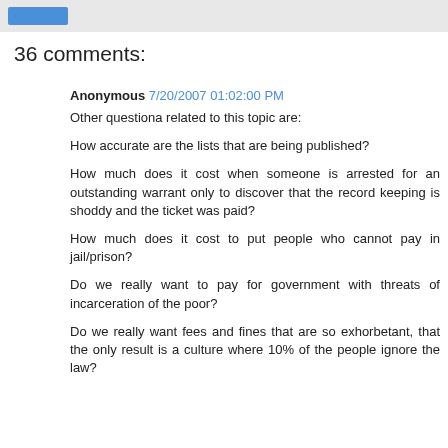36 comments:
Anonymous 7/20/2007 01:02:00 PM
Other questiona related to this topic are:
How accurate are the lists that are being published?
How much does it cost when someone is arrested for an outstanding warrant only to discover that the record keeping is shoddy and the ticket was paid?
How much does it cost to put people who cannot pay in jail/prison?
Do we really want to pay for government with threats of incarceration of the poor?
Do we really want fees and fines that are so exhorbetant, that the only result is a culture where 10% of the people ignore the law?